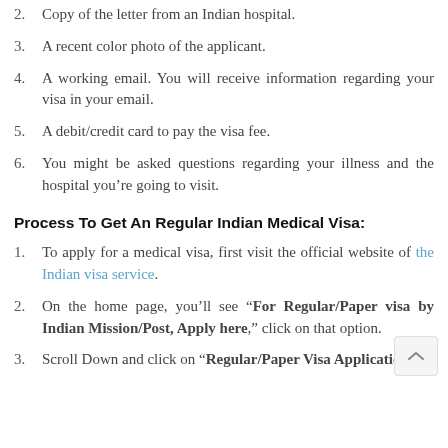2. Copy of the letter from an Indian hospital.
3. A recent color photo of the applicant.
4. A working email. You will receive information regarding your visa in your email.
5. A debit/credit card to pay the visa fee.
6. You might be asked questions regarding your illness and the hospital you’re going to visit.
Process To Get An Regular Indian Medical Visa:
1. To apply for a medical visa, first visit the official website of the Indian visa service.
2. On the home page, you’ll see “For Regular/Paper visa by Indian Mission/Post, Apply here,” click on that option.
3. Scroll Down and click on “Regular/Paper Visa Application.”